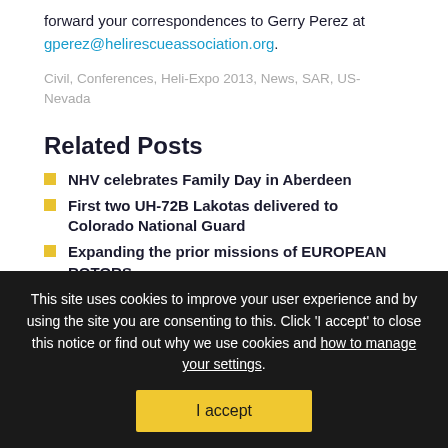forward your correspondences to Gerry Perez at gperez@helirescueassociation.org.
Civil, Conferences, Heli-Expo 2013, News, SAR, US-Nevada
Related Posts
NHV celebrates Family Day in Aberdeen
First two UH-72B Lakotas delivered to Colorado National Guard
Expanding the prior missions of EUROPEAN ROTORS
Louisville delivers multi-use helicopter training facility at Fort Campbell
UK AAIB Bulletin – August 2022
This site uses cookies to improve your user experience and by using the site you are consenting to this. Click 'I accept' to close this notice or find out why we use cookies and how to manage your settings.
I accept